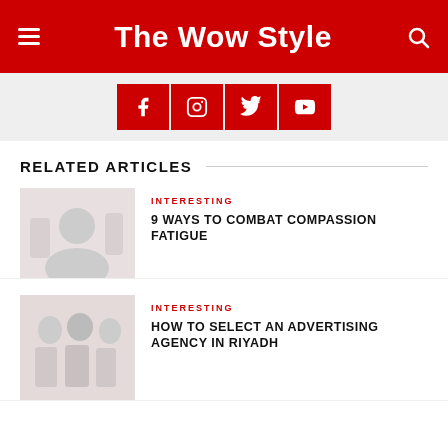The Wow Style
[Figure (screenshot): Social media icons bar with Facebook, Instagram, Twitter, YouTube icons on red background]
RELATED ARTICLES
[Figure (photo): Grayscale photo of people, related to compassion fatigue article]
INTERESTING
9 WAYS TO COMBAT COMPASSION FATIGUE
[Figure (photo): Grayscale photo of people in a meeting or group, related to advertising agency article]
INTERESTING
HOW TO SELECT AN ADVERTISING AGENCY IN RIYADH